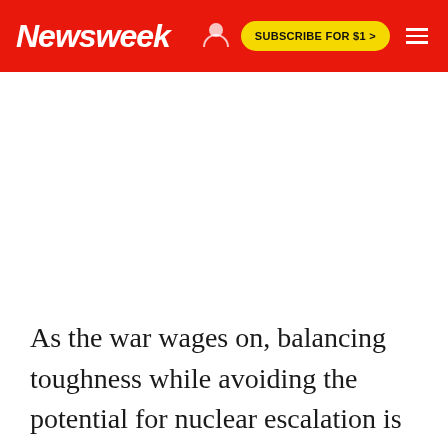Newsweek | SUBSCRIBE FOR $1 >
As the war wages on, balancing toughness while avoiding the potential for nuclear escalation is likely to be an ongoing concern of